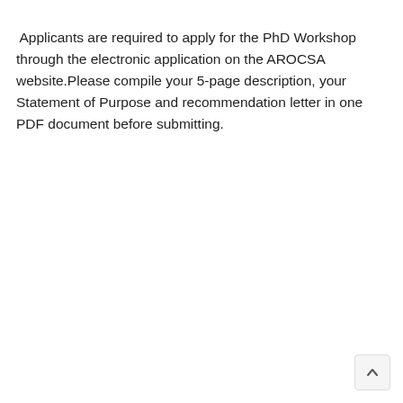Applicants are required to apply for the PhD Workshop through the electronic application on the AROCSA website.Please compile your 5-page description, your Statement of Purpose and recommendation letter in one PDF document before submitting.